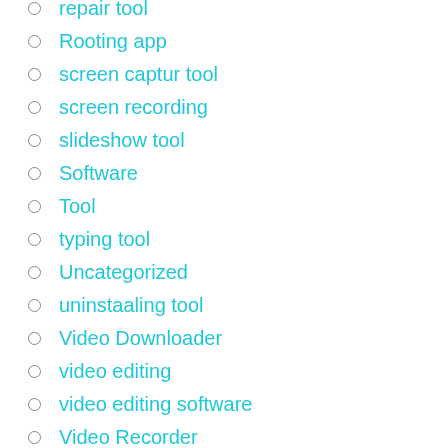repair tool
Rooting app
screen captur tool
screen recording
slideshow tool
Software
Tool
typing tool
Uncategorized
uninstaaling tool
Video Downloader
video editing
video editing software
Video Recorder
Voice changing tool